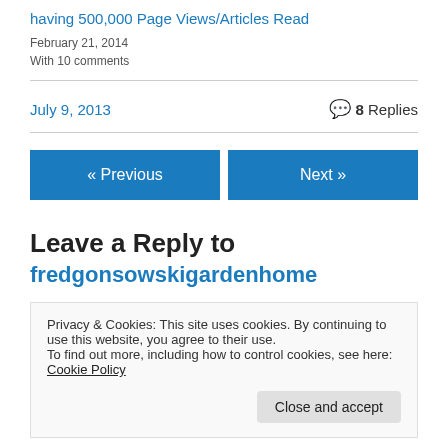having 500,000 Page Views/Articles Read
February 21, 2014
With 10 comments
July 9, 2013   8 Replies
« Previous
Next »
Leave a Reply to
fredgonsowskigardenhome
Privacy & Cookies: This site uses cookies. By continuing to use this website, you agree to their use. To find out more, including how to control cookies, see here: Cookie Policy
Close and accept